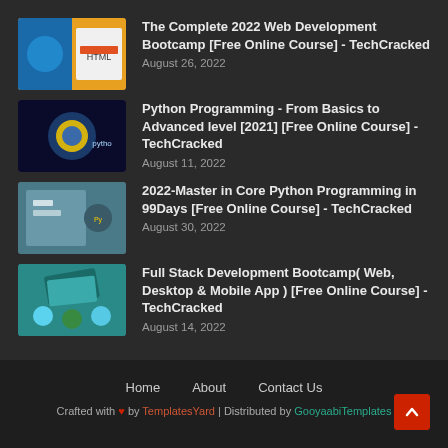The Complete 2022 Web Development Bootcamp [Free Online Course] - TechCracked
August 26, 2022
Python Programming - From Basics to Advanced level [2021] [Free Online Course] - TechCracked
August 11, 2022
2022-Master in Core Python Programming in 99Days [Free Online Course] - TechCracked
August 30, 2022
Full Stack Development Bootcamp( Web, Desktop & Mobile App ) [Free Online Course] - TechCracked
August 14, 2022
Home   About   Contact Us
Crafted with ❤ by TemplatesYard | Distributed by GooyaabiTemplates